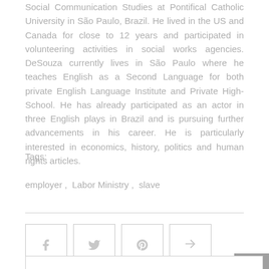Social Communication Studies at Pontifical Catholic University in São Paulo, Brazil. He lived in the US and Canada for close to 12 years and participated in volunteering activities in social works agencies. DeSouza currently lives in São Paulo where he teaches English as a Second Language for both private English Language Institute and Private High-School. He has already participated as an actor in three English plays in Brazil and is pursuing further advancements in his career. He is particularly interested in economics, history, politics and human rights articles.
Tags:
employer ,  Labor Ministry ,  slave
[Figure (other): Social sharing buttons: Facebook, Twitter, Pinterest, Share]
[Figure (other): Back to top arrow button]
[Figure (other): Author card section beginning]